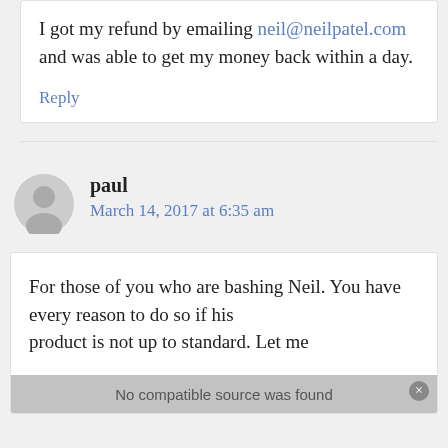I got my refund by emailing neil@neilpatel.com and was able to get my money back within a day.
Reply
paul
March 14, 2017 at 6:35 am
For those of you who are bashing Neil. You have every reason to do so if his product is not up to standard. Let me...